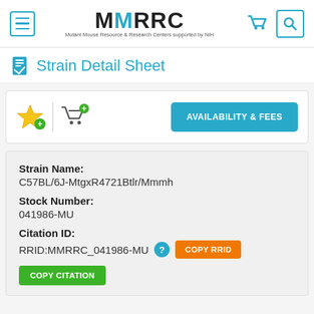MMRRC - Mutant Mouse Resource & Research Centers supported by NIH
Strain Detail Sheet
[Figure (infographic): Toolbar with star/add-to-wishlist icon, add-to-cart icon, and AVAILABILITY & FEES button]
Strain Name:
C57BL/6J-MtgxR4721Btlr/Mmmh
Stock Number:
041986-MU
Citation ID:
RRID:MMRRC_041986-MU
COPY RRID
COPY CITATION